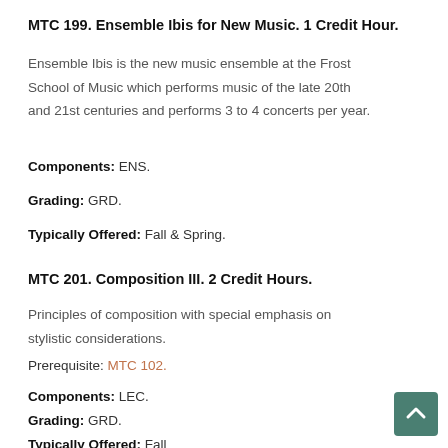MTC 199. Ensemble Ibis for New Music. 1 Credit Hour.
Ensemble Ibis is the new music ensemble at the Frost School of Music which performs music of the late 20th and 21st centuries and performs 3 to 4 concerts per year.
Components: ENS.
Grading: GRD.
Typically Offered: Fall & Spring.
MTC 201. Composition III. 2 Credit Hours.
Principles of composition with special emphasis on stylistic considerations.
Prerequisite: MTC 102.
Components: LEC.
Grading: GRD.
Typically Offered: Fall